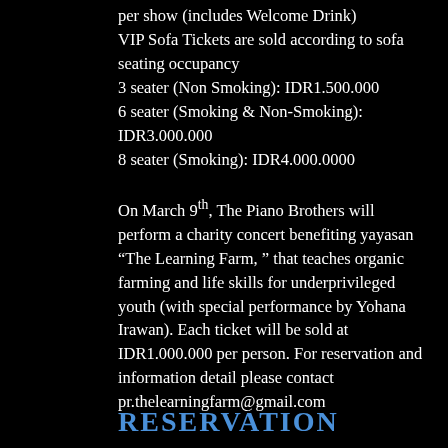per show (includes Welcome Drink)
VIP Sofa Tickets are sold according to sofa seating occupancy
3 seater (Non Smoking): IDR1.500.000
6 seater (Smoking & Non-Smoking): IDR3.000.000
8 seater (Smoking): IDR4.000.0000

On March 9th, The Piano Brothers will perform a charity concert benefiting yayasan “The Learning Farm, ” that teaches organic farming and life skills for underprivileged youth (with special performance by Yohana Irawan). Each ticket will be sold at IDR1.000.000 per person. For reservation and information detail please contact pr.thelearningfarm@gmail.com
RESERVATION